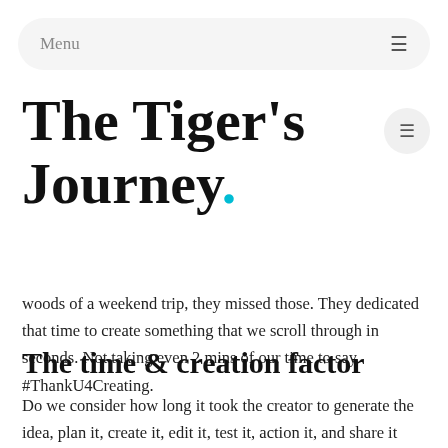Menu
The Tiger's Journey.
woods of a weekend trip, they missed those. They dedicated that time to create something that we scroll through in seconds. Not taking even 2 mins of our time to say #ThankU4Creating.
The time & creation factor
Do we consider how long it took the creator to generate the idea, plan it, create it, edit it, test it, action it, and share it with the world? I doubt the thought enters our minds.